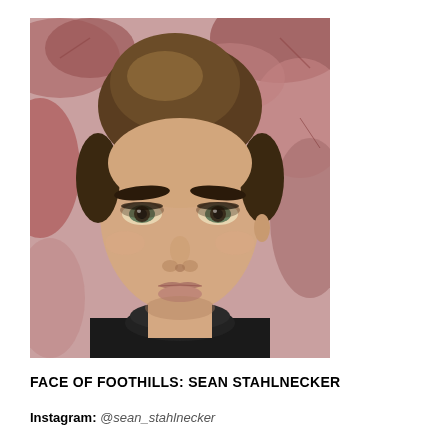[Figure (photo): Close-up portrait of a young man with styled brown/blonde hair, strong eyebrows, light eyes, wearing a dark turtleneck. Background has red/pink leaves.]
FACE OF FOOTHILLS: SEAN STAHLNECKER
Instagram: @sean_stahlnecker